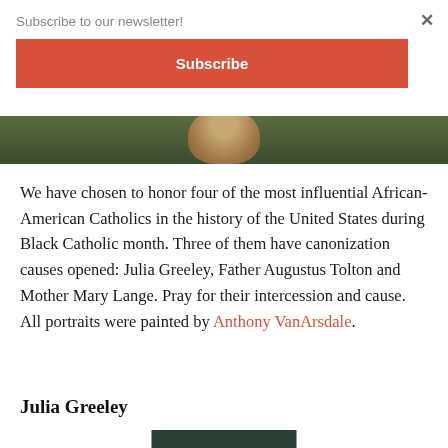Subscribe to our newsletter!
Subscribe
[Figure (photo): Partial photo strip showing top of a person's head against a dark green/brown background]
We have chosen to honor four of the most influential African-American Catholics in the history of the United States during Black Catholic month. Three of them have canonization causes opened: Julia Greeley, Father Augustus Tolton and Mother Mary Lange. Pray for their intercession and cause. All portraits were painted by Anthony VanArsdale.
Julia Greeley
[Figure (photo): Bottom portion of a portrait photograph, partially visible at the bottom of the page]